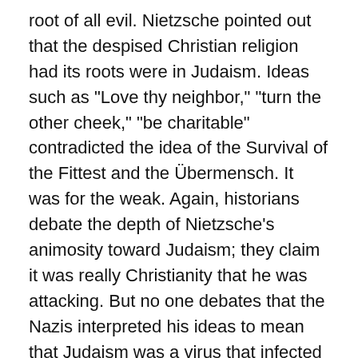root of all evil. Nietzsche pointed out that the despised Christian religion had its roots were in Judaism. Ideas such as "Love thy neighbor," "turn the other cheek," "be charitable" contradicted the idea of the Survival of the Fittest and the Übermensch. It was for the weak. Again, historians debate the depth of Nietzsche's animosity toward Judaism; they claim it was really Christianity that he was attacking. But no one debates that the Nazis interpreted his ideas to mean that Judaism was a virus that infected the world. Christianity — and even worse for the Nazis: Communism — was nothing more than a front for Jewish ideas meant to suppress the strong, Germanic spirit.
German 19th century anti-Semitism found echoes is some very strange places. The great German composer Richard Wagner (1813-1883), who had a fixation with German and Pagan mythology, was a rabid anti-Semite – and his wife was worse. Some of the otherwise greatest people in